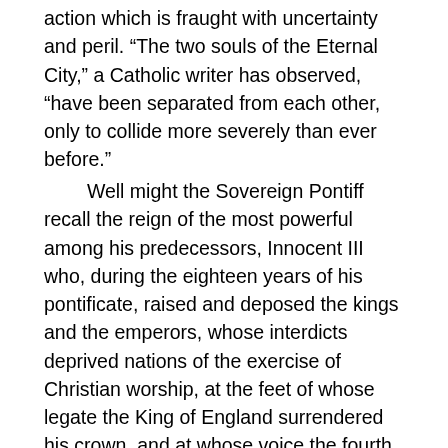action which is fraught with uncertainty and peril. “The two souls of the Eternal City,” a Catholic writer has observed, “have been separated from each other, only to collide more severely than ever before.”

Well might the Sovereign Pontiff recall the reign of the most powerful among his predecessors, Innocent III who, during the eighteen years of his pontificate, raised and deposed the kings and the emperors, whose interdicts deprived nations of the exercise of Christian worship, at the feet of whose legate the King of England surrendered his crown, and at whose voice the fourth and the fifth crusades were both undertaken.

Might not the process, to which reference has already been made, manifest, in the course of its operation, during the tumultuous years in store for mankind, and in this same domain, a commotion still more devastating than with us today?